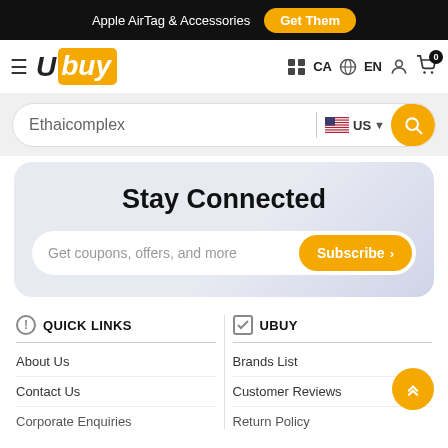Apple AirTag & Accessories  Get Them
[Figure (logo): Ubuy logo with hamburger menu, CA country selector, EN language, user icon, cart with 0 badge]
Ethaicomplex US search bar
Stay Connected
Get coupons, offers, and more  Subscribe >
QUICK LINKS
UBUY
About Us
Contact Us
Corporate Enquiries
Brands List
Customer Reviews
Return Policy